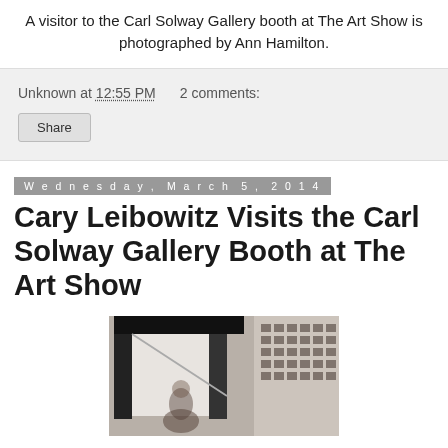A visitor to the Carl Solway Gallery booth at The Art Show is photographed by Ann Hamilton.
Unknown at 12:55 PM   2 comments:
Share
Wednesday, March 5, 2014
Cary Leibowitz Visits the Carl Solway Gallery Booth at The Art Show
[Figure (photo): A blurry interior photo showing what appears to be a photography booth or studio setup, with white panels/screens and a figure partially visible. The right side shows a grid of small photographs on the wall.]